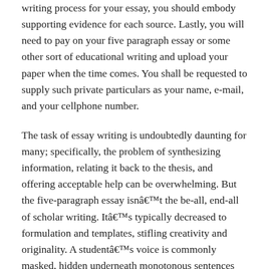writing process for your essay, you should embody supporting evidence for each source. Lastly, you will need to pay on your five paragraph essay or some other sort of educational writing and upload your paper when the time comes. You shall be requested to supply such private particulars as your name, e-mail, and your cellphone number.
The task of essay writing is undoubtedly daunting for many; specifically, the problem of synthesizing information, relating it back to the thesis, and offering acceptable help can be overwhelming. But the five-paragraph essay isn't the be-all, end-all of scholar writing. It's typically decreased to formulation and templates, stifling creativity and originality. A student's voice is commonly masked, hidden underneath monotonous sentences and bland vocabulary.
And irrespective of how nicely your youngster writes, in the